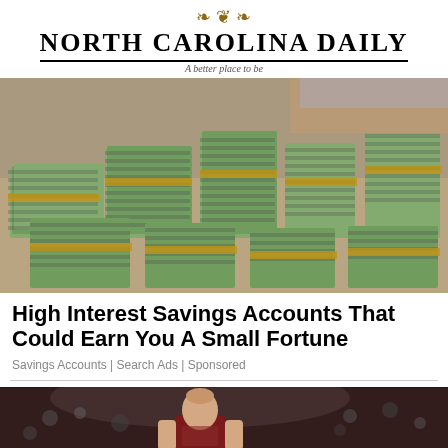NORTH CAROLINA DAILY — A better place to be
[Figure (photo): Large stacks of bundled US dollar bills piled on a table, with hands visible in the background]
High Interest Savings Accounts That Could Earn You A Small Fortune
Savings Accounts | Search Ads | Sponsored
[Figure (photo): Basketball player in dark red jersey on a court with crowd in background]